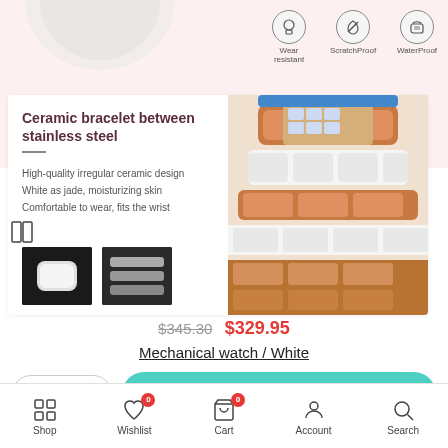[Figure (screenshot): Top area showing partial watch glass image and three feature icons: Wear resistant, ScratchProof, WaterProof on pale pink background]
[Figure (photo): Product card showing ceramic bracelet between stainless steel watch band, with rose gold and white ceramic links, plus two small thumbnails of ceramic and steel materials]
Ceramic bracelet between stainless steel
High-quality irregular ceramic design
White as jade, moisturizing skin
Comfortable to wear, fits the wrist
$345.30 $329.95
Mechanical watch / White
- 1 + ADD TO CART
Shop   Wishlist  0   Cart  0   Account   Search